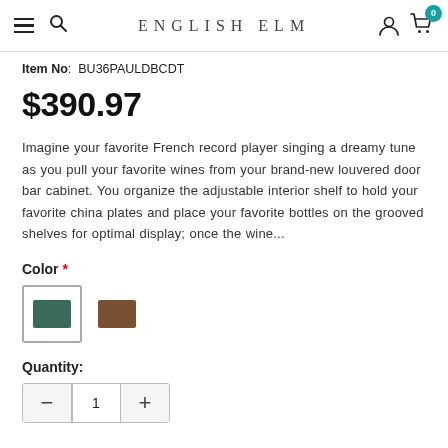ENGLISH ELM
Item No: BU36PAULDBCDT
$390.97
Imagine your favorite French record player singing a dreamy tune as you pull your favorite wines from your brand-new louvered door bar cabinet. You organize the adjustable interior shelf to hold your favorite china plates and place your favorite bottles on the grooved shelves for optimal display; once the wine...
Color *
[Figure (other): Two color swatches: green (selected, with border) and brown]
Quantity:
— 1 +